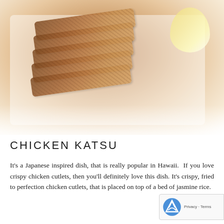[Figure (photo): Photo of chicken katsu dish — sliced crispy fried chicken cutlets arranged on a white plate with a lemon wedge, shown from above. The breaded cutlets are sliced diagonally, with a golden-brown breading texture visible.]
CHICKEN KATSU
It's a Japanese inspired dish, that is really popular in Hawaii.  If you love crispy chicken cutlets, then you'll definitely love this dish. It's crispy, fried to perfection chicken cutlets, that is placed on top of a bed of jasmine rice.